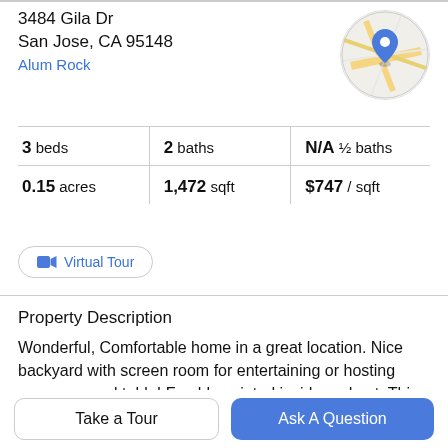3484 Gila Dr
San Jose, CA 95148
Alum Rock
[Figure (map): Circular map thumbnail showing street map with blue location pin marker]
| Stat | Value |
| --- | --- |
| beds | 3 |
| baths | 2 |
| ½ baths | N/A |
| acres | 0.15 |
| sqft | 1,472 |
| $ / sqft | $747 |
Virtual Tour
Property Description
Wonderful, Comfortable home in a great location. Nice backyard with screen room for entertaining or hosting your new pool table! Freshly painted inside and out. This 3
bedroom home is ready for a new family to add their own
Take a Tour
Ask A Question